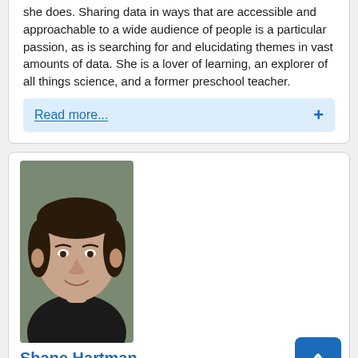she does. Sharing data in ways that are accessible and approachable to a wide audience of people is a particular passion, as is searching for and elucidating themes in vast amounts of data. She is a lover of learning, an explorer of all things science, and a former preschool teacher.
Read more...
[Figure (photo): Headshot photo of Shane Hartman, a man with short dark hair, smiling, wearing a dark shirt, against a gray-green background.]
Shane Hartman
External Evaluator